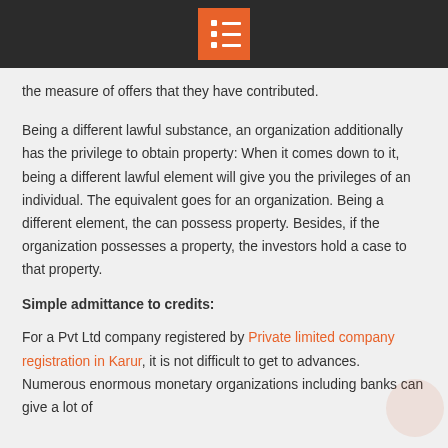the measure of offers that they have contributed.
Being a different lawful substance, an organization additionally has the privilege to obtain property: When it comes down to it, being a different lawful element will give you the privileges of an individual. The equivalent goes for an organization. Being a different element, the can possess property. Besides, if the organization possesses a property, the investors hold a case to that property.
Simple admittance to credits:
For a Pvt Ltd company registered by Private limited company registration in Karur, it is not difficult to get to advances. Numerous enormous monetary organizations including banks can give a lot of